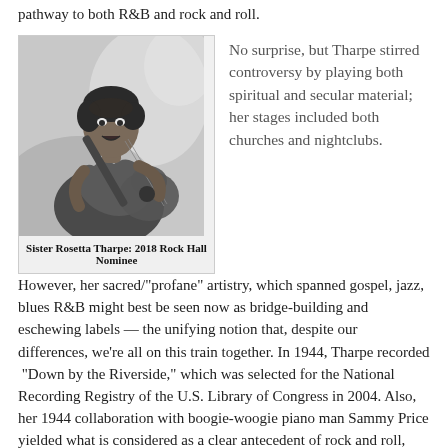pathway to both R&B and rock and roll.
[Figure (photo): Black and white photograph of Sister Rosetta Tharpe playing electric guitar, looking upward, wearing a ruffled outfit.]
Sister Rosetta Tharpe: 2018 Rock Hall Nominee
No surprise, but Tharpe stirred controversy by playing both spiritual and secular material; her stages included both churches and nightclubs. However, her sacred/"profane" artistry, which spanned gospel, jazz, blues R&B might best be seen now as bridge-building and eschewing labels — the unifying notion that, despite our differences, we're all on this train together. In 1944, Tharpe recorded  "Down by the Riverside," which was selected for the National Recording Registry of the U.S. Library of Congress in 2004. Also, her 1944 collaboration with boogie-woogie piano man Sammy Price yielded what is considered as a clear antecedent of rock and roll, "Strange Things Happening Every Day" (a Decca Records single).
Sister Rosetta Tharpe was the pioneer in the Rock Hall for...